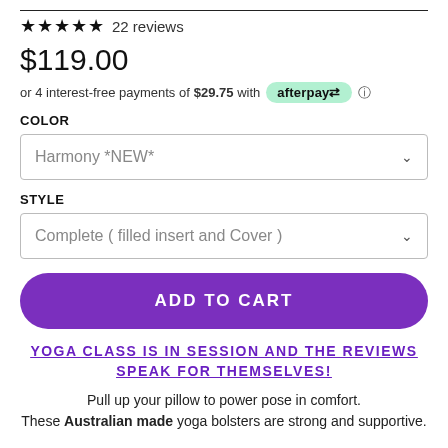★★★★★ 22 reviews
$119.00
or 4 interest-free payments of $29.75 with afterpay ℹ
COLOR
Harmony *NEW*
STYLE
Complete ( filled insert and Cover )
ADD TO CART
YOGA CLASS IS IN SESSION AND THE REVIEWS SPEAK FOR THEMSELVES!
Pull up your pillow to power pose in comfort. These Australian made yoga bolsters are strong and supportive.